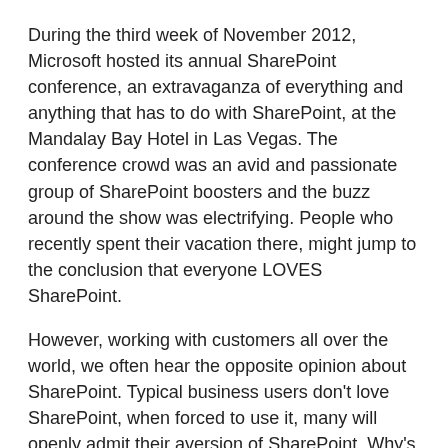During the third week of November 2012, Microsoft hosted its annual SharePoint conference, an extravaganza of everything and anything that has to do with SharePoint, at the Mandalay Bay Hotel in Las Vegas. The conference crowd was an avid and passionate group of SharePoint boosters and the buzz around the show was electrifying. People who recently spent their vacation there, might jump to the conclusion that everyone LOVES SharePoint.
However, working with customers all over the world, we often hear the opposite opinion about SharePoint. Typical business users don't love SharePoint, when forced to use it, many will openly admit their aversion of SharePoint. Why's that? Here is a list of common reasons why people hate SharePoint:
Deployment time takes too long – According to a Forrester survey over 40% of respondents reported that